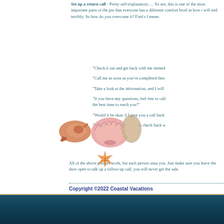Set up a return call - Pretty self-explanatory…. You see, this is one of the most important parts of the presentation that everyone has a different comfort level in how they do it will end terribly. So how do you overcome it? Find something I mean:
"Check it out and get back with me immed..."
"Call me as soon as you've completed thes..."
"Take a look at the information, and I will..."
"If you have any questions, feel free to call... the best time to reach you?"
"Would it be okay if I give you a call back..."
"When would you like me to check back w..."
All of the above phrases work, but each person usually works for you. Just make sure you leave the door open to talk up a follow-up call, you will never get the sale.
Copyright ©2022 Coastal Vacations
[Figure (illustration): Decorative image of seashells and a starfish]